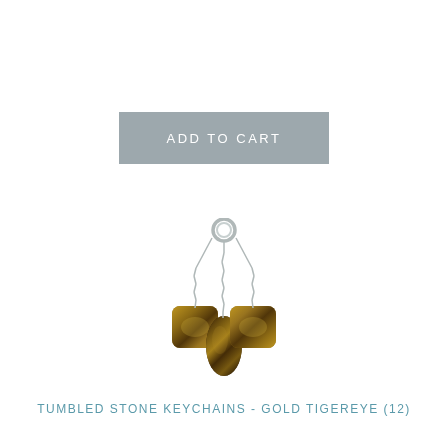[Figure (other): Gray rectangular 'ADD TO CART' button with white uppercase text]
[Figure (photo): A keychain with three tiger eye tumbled stones hanging from silver chains attached to a silver key ring. The stones are golden-brown with dark striping patterns.]
TUMBLED STONE KEYCHAINS - GOLD TIGEREYE (12)